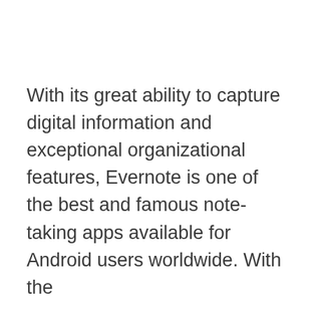With its great ability to capture digital information and exceptional organizational features, Evernote is one of the best and famous note-taking apps available for Android users worldwide. With the